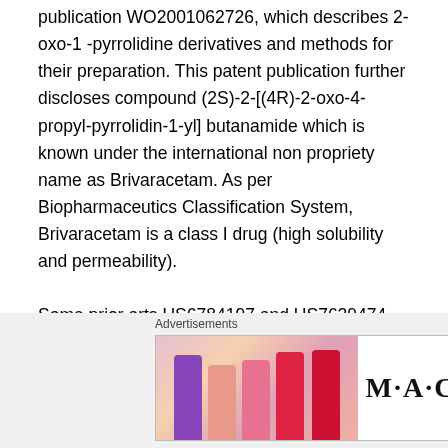publication WO2001062726, which describes 2-oxo-1-pyrrolidine derivatives and methods for their preparation. This patent publication further discloses compound (2S)-2-[(4R)-2-oxo-4-propyl-pyrrolidin-1-yl] butanamide which is known under the international non propriety name as Brivaracetam. As per Biopharmaceutics Classification System, Brivaracetam is a class I drug (high solubility and permeability).
Some prior arts US6784197 and US7629474 disclose a process for synthesizing a diastereomeric mixture of (2S)-2-[(4R)-2-oxo-4-propylpyrrolidin-1-yl]-butanamide and (2S)-2-[(4S)-2-oxo-4-propylpyrrolidin-1-yl]-butanamide (Brivaracetam) which is purified by chiral HPLC (Scheme-
[Figure (other): Advertisement banner showing MAC cosmetics lipsticks with 'SHOP NOW' button]